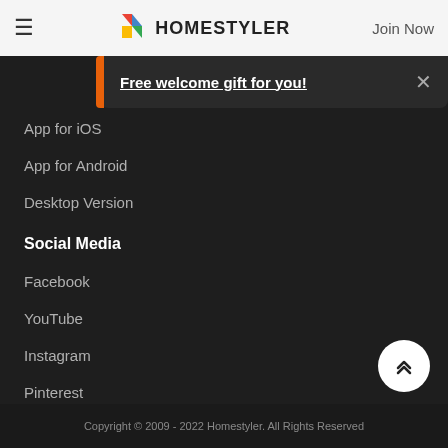HOMESTYLER | Join Now
Free welcome gift for you!
App for iOS
App for Android
Desktop Version
Social Media
Facebook
YouTube
Instagram
Pinterest
Twitter
Behance
Copyright © 2009 - 2022 Homestyler. All Rights Reserved